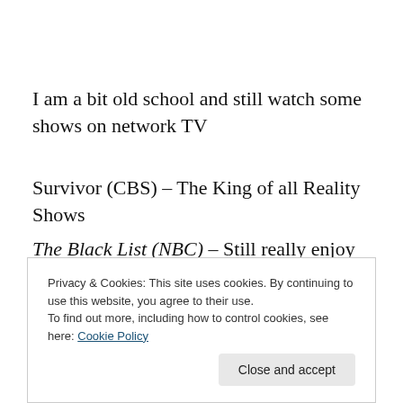I am a bit old school and still watch some shows on network TV
Survivor (CBS) – The King of all Reality Shows
The Black List (NBC) – Still really enjoy this each week
The Endgame (NBC) – Kept me entertained. Hopefully they will have Season 2
Privacy & Cookies: This site uses cookies. By continuing to use this website, you agree to their use.
To find out more, including how to control cookies, see here: Cookie Policy